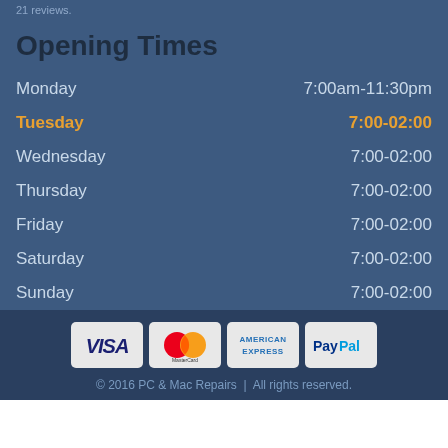21 reviews.
Opening Times
| Day | Hours |
| --- | --- |
| Monday | 7:00am-11:30pm |
| Tuesday | 7:00-02:00 |
| Wednesday | 7:00-02:00 |
| Thursday | 7:00-02:00 |
| Friday | 7:00-02:00 |
| Saturday | 7:00-02:00 |
| Sunday | 7:00-02:00 |
[Figure (other): Payment method logos: VISA, MasterCard, American Express, PayPal]
© 2016 PC & Mac Repairs | All rights reserved.